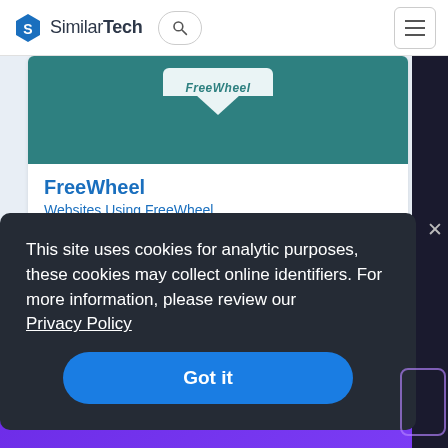SimilarTech
[Figure (screenshot): FreeWheel logo badge on teal background card image]
FreeWheel
Websites Using FreeWheel
Premium video monetization solutions.
This site uses cookies for analytic purposes, these cookies may collect online identifiers. For more information, please review our Privacy Policy
Got it